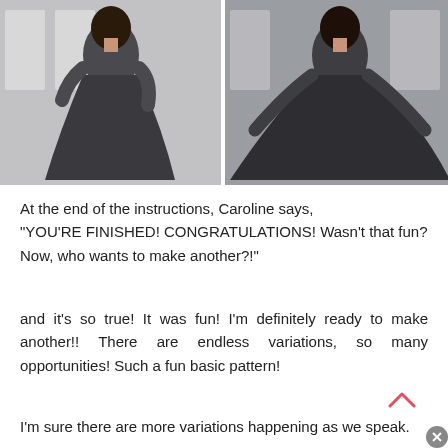[Figure (photo): Two side-by-side photos of a woman wearing a dark gray gathered skirt dress with elbow-length sleeves, standing in front of white doors. Left photo shows her standing naturally; right photo shows her holding out the skirt.]
At the end of the instructions, Caroline says,
"YOU'RE FINISHED! CONGRATULATIONS! Wasn't that fun? Now, who wants to make another?!"
and it's so true! It was fun! I'm definitely ready to make another!! There are endless variations, so many opportunities! Such a fun basic pattern!
I'm sure there are more variations happening as we speak.